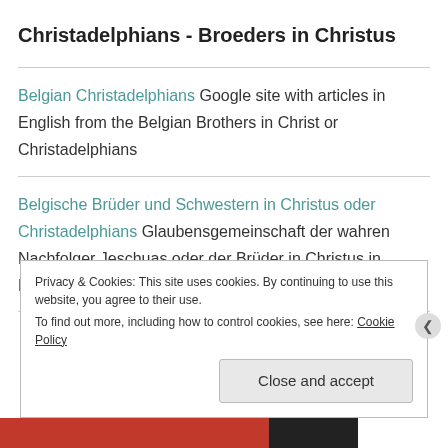Christadelphians - Broeders in Christus
Belgian Christadelphians Google site with articles in English from the Belgian Brothers in Christ or Christadelphians
Belgische Brüder und Schwestern in Christus oder Christadelphians Glaubensgemeinschaft der wahren Nachfolger Jeschuas oder der Brüder in Christus in Belgien
Privacy & Cookies: This site uses cookies. By continuing to use this website, you agree to their use.
To find out more, including how to control cookies, see here: Cookie Policy
Close and accept